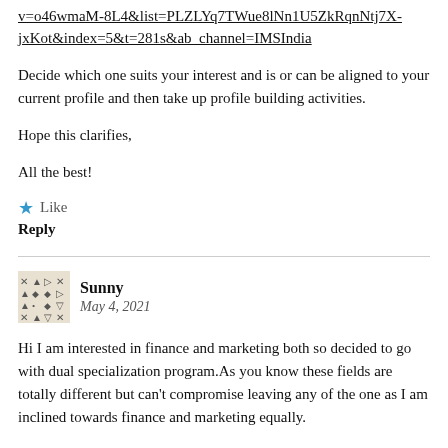v=o46wmaM-8L4&list=PLZLYq7TWue8lNn1U5ZkRqnNtj7X-jxKot&index=5&t=281s&ab_channel=IMSIndia
Decide which one suits your interest and is or can be aligned to your current profile and then take up profile building activities.
Hope this clarifies,
All the best!
★ Like
Reply
Sunny
May 4, 2021
Hi I am interested in finance and marketing both so decided to go with dual specialization program.As you know these fields are totally different but can't compromise leaving any of the one as I am inclined towards finance and marketing equally.